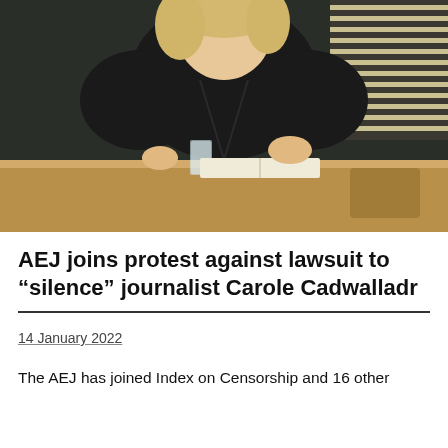[Figure (photo): A woman with blonde hair wearing a black leather jacket, seated at a wooden table with an open book and a glass of water, speaking or gesturing with her hands. Background shows window blinds and a wall.]
AEJ joins protest against lawsuit to “silence” journalist Carole Cadwalladr
14 January 2022
The AEJ has joined Index on Censorship and 16 other